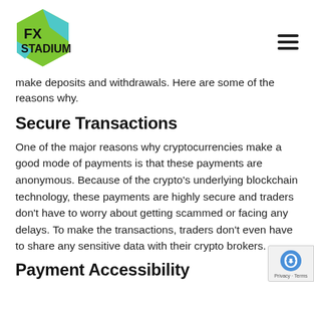[Figure (logo): FX Stadium logo — hexagon shape with green and teal colors, bold black text FX STADIUM]
make deposits and withdrawals. Here are some of the reasons why.
Secure Transactions
One of the major reasons why cryptocurrencies make a good mode of payments is that these payments are anonymous. Because of the crypto's underlying blockchain technology, these payments are highly secure and traders don't have to worry about getting scammed or facing any delays. To make the transactions, traders don't even have to share any sensitive data with their crypto brokers.
Payment Accessibility